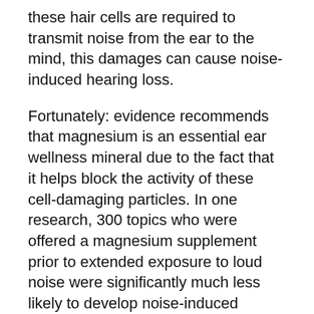these hair cells are required to transmit noise from the ear to the mind, this damages can cause noise-induced hearing loss.
Fortunately: evidence recommends that magnesium is an essential ear wellness mineral due to the fact that it helps block the activity of these cell-damaging particles. In one research, 300 topics who were offered a magnesium supplement prior to extended exposure to loud noise were significantly much less likely to develop noise-induced hearing loss than the control team.
Lots of people with noise-induced hearing loss additionally deal with tinnitus. Magnesium has been revealed to relieve the extent of ringing in the ears signs and